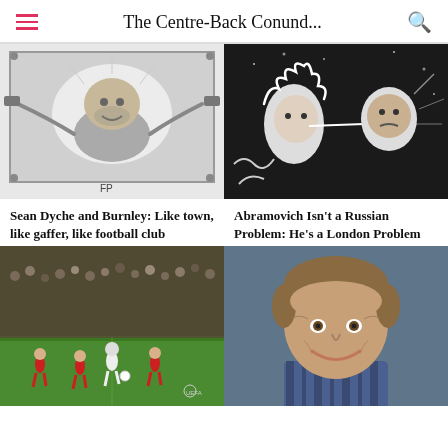The Centre-Back Conund...
[Figure (illustration): Black and white caricature illustration of Sean Dyche with FP initials, breaking through a frame]
Sean Dyche and Burnley: Like town, like gaffer, like football club
[Figure (illustration): Black and white cartoon illustration of two figures, one with curly hair and one older man, facing each other in a dark setting]
Abramovich Isn't a Russian Problem: He's a London Problem
[Figure (photo): Football match action photo showing players on a green pitch with red-kit players and a white-kit player, crowd in background]
[Figure (photo): Portrait photo of a smiling middle-aged man in a striped sports jacket, blue-grey background]